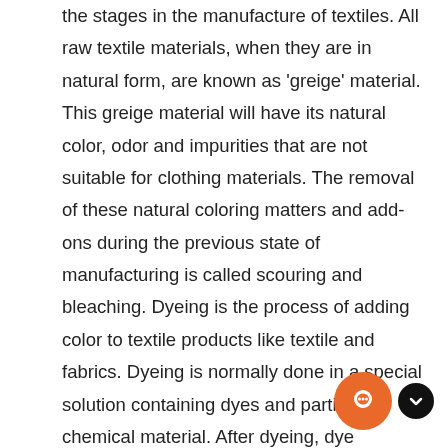the stages in the manufacture of textiles. All raw textile materials, when they are in natural form, are known as 'greige' material. This greige material will have its natural color, odor and impurities that are not suitable for clothing materials. The removal of these natural coloring matters and add-ons during the previous state of manufacturing is called scouring and bleaching. Dyeing is the process of adding color to textile products like textile and fabrics. Dyeing is normally done in a special solution containing dyes and particular chemical material. After dyeing, dye molecules have uncut chemical bond with fiber molecules. Textile finishing is the term used for a series of processes to which all bleached, dyed, printed and certain grey fabrics are subjected before they put on the market. The object of textile finishing is to render textile goods fit for their purpose or end-use and/or improve serviceability of the fabric. There are sev... primary properties necessary for a polymeric material to make an